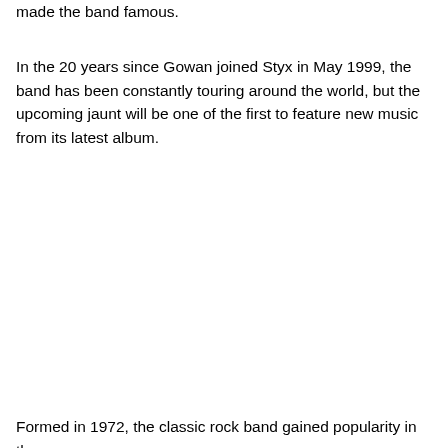made the band famous.
In the 20 years since Gowan joined Styx in May 1999, the band has been constantly touring around the world, but the upcoming jaunt will be one of the first to feature new music from its latest album.
Formed in 1972, the classic rock band gained popularity in the